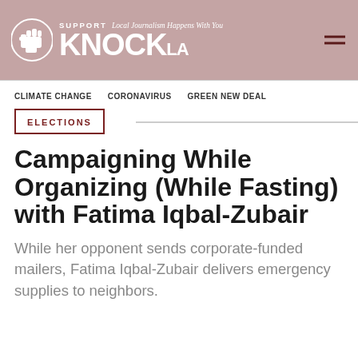SUPPORT KNOCK LA — Local Journalism Happens With You
CLIMATE CHANGE
CORONAVIRUS
GREEN NEW DEAL
ELECTIONS
Campaigning While Organizing (While Fasting) with Fatima Iqbal-Zubair
While her opponent sends corporate-funded mailers, Fatima Iqbal-Zubair delivers emergency supplies to neighbors.